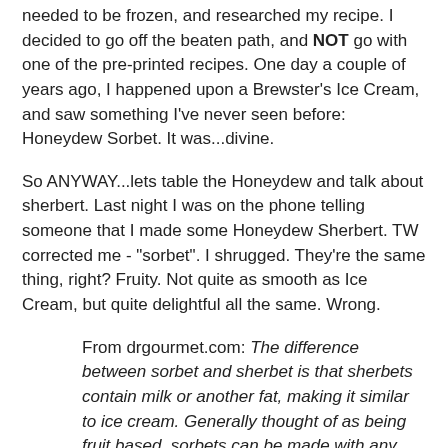needed to be frozen, and researched my recipe. I decided to go off the beaten path, and NOT go with one of the pre-printed recipes. One day a couple of years ago, I happened upon a Brewster's Ice Cream, and saw something I've never seen before: Honeydew Sorbet. It was...divine.
So ANYWAY...lets table the Honeydew and talk about sherbert. Last night I was on the phone telling someone that I made some Honeydew Sherbert. TW corrected me - "sorbet". I shrugged. They're the same thing, right? Fruity. Not quite as smooth as Ice Cream, but quite delightful all the same. Wrong.
From drgourmet.com: The difference between sorbet and sherbet is that sherbets contain milk or another fat, making it similar to ice cream. Generally thought of as being fruit based, sorbets can be made with any ingredient.
So, I made sorbet. Not sherbert.
But what ever happened to sherbet? I don't recall seeing any